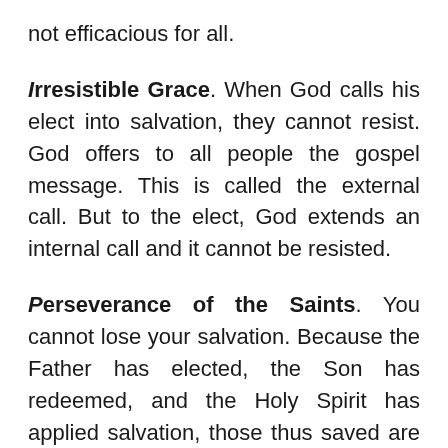not efficacious for all.
Irresistible Grace. When God calls his elect into salvation, they cannot resist. God offers to all people the gospel message. This is called the external call. But to the elect, God extends an internal call and it cannot be resisted.
Perseverance of the Saints. You cannot lose your salvation. Because the Father has elected, the Son has redeemed, and the Holy Spirit has applied salvation, those thus saved are eternally secure. They are eternally secure in Christ.
Obviously this comic is referring to the fourth point. I think its important for Christians to understand Calvinism, what makes it distinctive